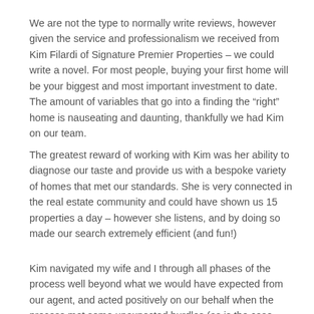We are not the type to normally write reviews, however given the service and professionalism we received from Kim Filardi of Signature Premier Properties – we could write a novel. For most people, buying your first home will be your biggest and most important investment to date. The amount of variables that go into a finding the “right” home is nauseating and daunting, thankfully we had Kim on our team.
The greatest reward of working with Kim was her ability to diagnose our taste and provide us with a bespoke variety of homes that met our standards. She is very connected in the real estate community and could have shown us 15 properties a day – however she listens, and by doing so made our search extremely efficient (and fun!)
Kim navigated my wife and I through all phases of the process well beyond what we would have expected from our agent, and acted positively on our behalf when the process met some unexpected hurdles (as is the case